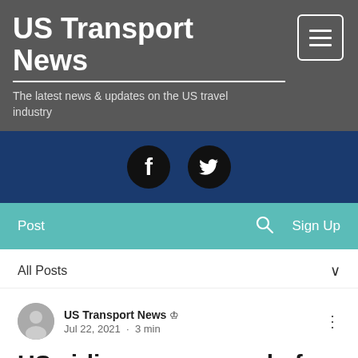US Transport News
The latest news & updates on the US travel industry
[Figure (infographic): Social media bar with Facebook and Twitter icons on dark blue background]
Post  Search  Sign Up
All Posts
US Transport News  Jul 22, 2021 · 3 min
US airlines say spread of COVID delta variant isn't deterring